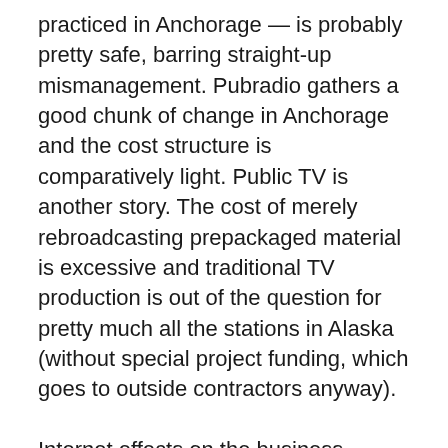practiced in Anchorage — is probably pretty safe, barring straight-up mismanagement. Pubradio gathers a good chunk of change in Anchorage and the cost structure is comparatively light. Public TV is another story. The cost of merely rebroadcasting prepackaged material is excessive and traditional TV production is out of the question for pretty much all the stations in Alaska (without special project funding, which goes to outside contractors anyway).
Internet effects on the business models are definitely coming to urban Alaska, as are demographic shifts that represent brand new media consumption habits for which public media outlets aren't really prepared, at least not here on the continent's edge. Those changes will occur slowly, accumulating quietly until, one day, it's just too late for the old guard to meet the new challenges, and that's